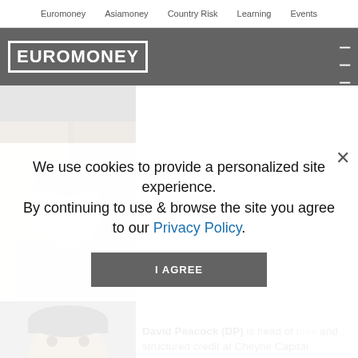Euromoney   Asiamoney   Country Risk   Learning   Events
[Figure (logo): Euromoney logo in white block lettering on grey header bar with hamburger menu icon]
[Figure (photo): Portrait photo of Cian O'Carroll, head of European structured credit at Fortis Investments]
Cian O'Carroll (COC) is head of European structured credit at Fortis Investments where he has worked for two years. Previously he worked at Lehman Brothers as a senior
[Figure (photo): Partial portrait photo of David Peacock, head of structured credit at Cheyne Capital Management]
David Peacock (DP) is head of ... de and structured credit at Cheyne Capital Management. David joined Cheyne in 2005 for...
We use cookies to provide a personalized site experience.
By continuing to use & browse the site you agree to our Privacy Policy.
I AGREE